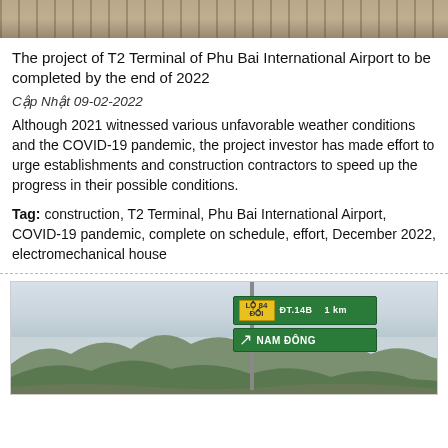[Figure (photo): Partial view of a construction site or airport terminal, cropped at top of page]
The project of T2 Terminal of Phu Bai International Airport to be completed by the end of 2022
Cập Nhật 09-02-2022
Although 2021 witnessed various unfavorable weather conditions and the COVID-19 pandemic, the project investor has made effort to urge establishments and construction contractors to speed up the progress in their possible conditions.
Tag: construction, T2 Terminal, Phu Bai International Airport, COVID-19 pandemic, complete on schedule, effort, December 2022, electromechanical house
[Figure (photo): Road sign on a mountain road in Vietnam showing DT.14B 1km and NAM DONG direction, with green mountains and cloudy sky in background]